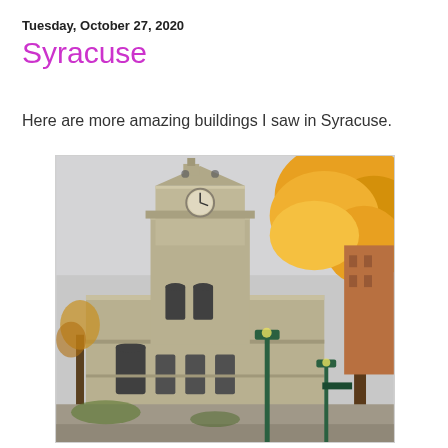Tuesday, October 27, 2020
Syracuse
Here are more amazing buildings I saw in Syracuse.
[Figure (photo): Photograph of a historic stone building with a clock tower in Syracuse, NY, surrounded by autumn orange/yellow trees. A green street lamp is visible in the foreground.]